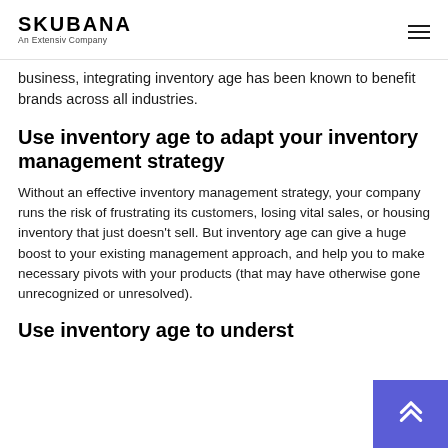SKUBANA — An Extensiv Company
business, integrating inventory age has been known to benefit brands across all industries.
Use inventory age to adapt your inventory management strategy
Without an effective inventory management strategy, your company runs the risk of frustrating its customers, losing vital sales, or housing inventory that just doesn't sell. But inventory age can give a huge boost to your existing management approach, and help you to make necessary pivots with your products (that may have otherwise gone unrecognized or unresolved).
Use inventory age to underst